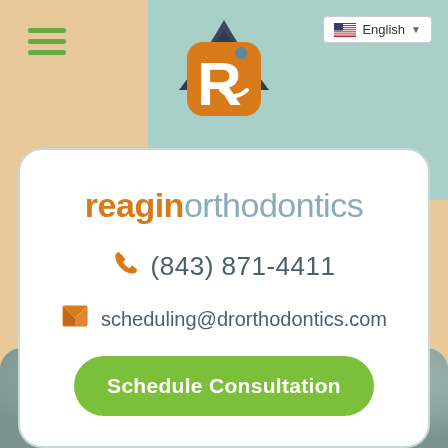[Figure (logo): Reagin Orthodontics logo icon — orange rounded square with white letter R and a smiley face dot, above dark triangular shapes]
reagin orthodontics
☎ (843) 871-4411
✉ scheduling@drorthodontics.com
Schedule Consultation